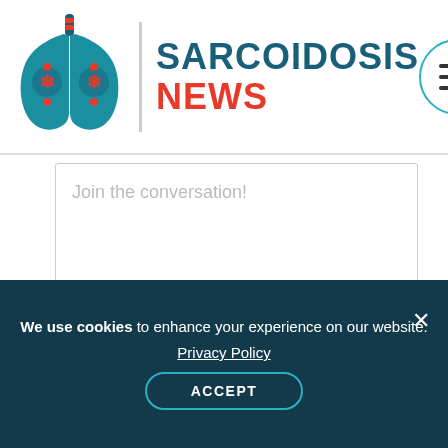[Figure (logo): Sarcoidosis News logo with lungs icon and site name]
Join the conversation!
POST COMMENT
We use cookies to enhance your experience on our website. Privacy Policy ACCEPT